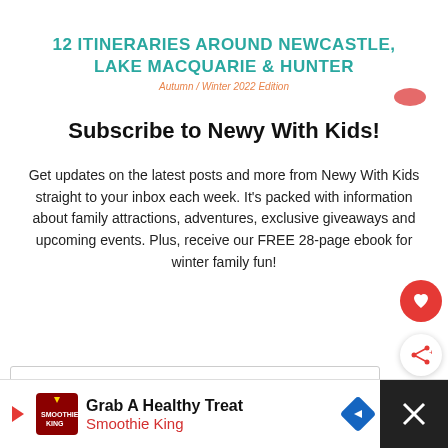12 ITINERARIES AROUND NEWCASTLE, LAKE MACQUARIE & HUNTER
Autumn / Winter 2022 Edition
Subscribe to Newy With Kids!
Get updates on the latest posts and more from Newy With Kids straight to your inbox each week. It's packed with information about family attractions, adventures, exclusive giveaways and upcoming events. Plus, receive our FREE 28-page ebook for winter family fun!
First Name
Your Email...
Grab A Healthy Treat
Smoothie King